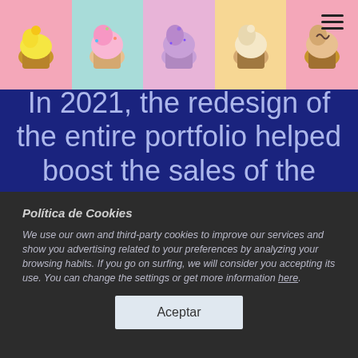[Figure (photo): Header strip of 5 cupcake images on colored backgrounds: pink, teal, purple/pink, yellow, pink]
In 2021, the redesign of the entire portfolio helped boost the sales of the brand +5% over the market category average.
Política de Cookies
We use our own and third-party cookies to improve our services and show you advertising related to your preferences by analyzing your browsing habits. If you go on surfing, we will consider you accepting its use. You can change the settings or get more information here.
Aceptar